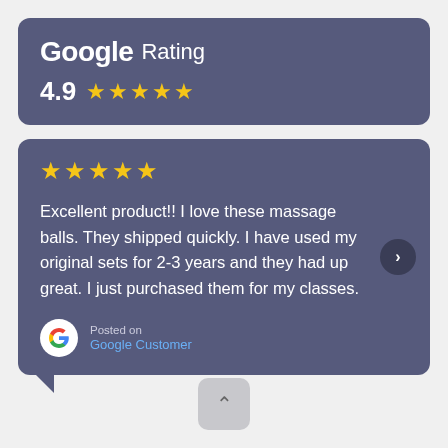[Figure (infographic): Google Rating card showing 4.9 stars with five gold stars]
[Figure (infographic): Google customer review card with 5 stars and review text about massage balls, with Google G logo and 'Posted on Google Customer' attribution and a next arrow button]
[Figure (infographic): Speech bubble tail below the review card, with a scroll-up button]